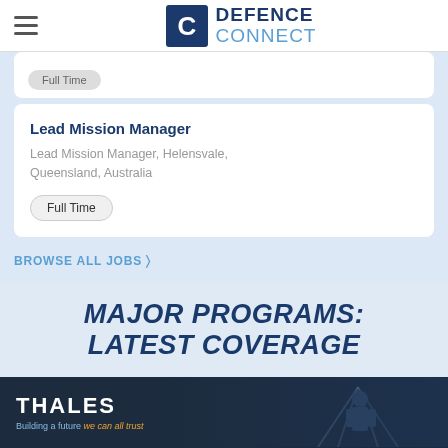DEFENCE CONNECT
Full Time
Lead Mission Manager
Lead Mission Manager, Helensvale, Queensland, Australia
Full Time
BROWSE ALL JOBS >
MAJOR PROGRAMS: LATEST COVERAGE
[Figure (photo): Thales advertisement banner showing a soldier in tactical gear with the Thales logo and tagline 'Building a future we can all trust']